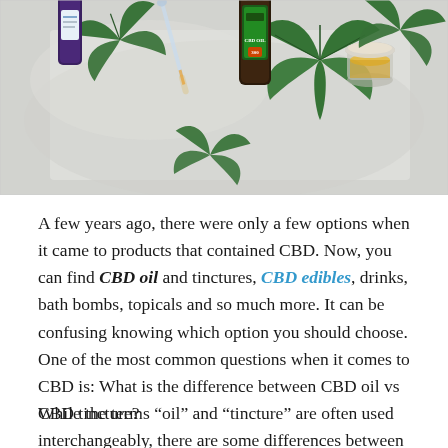[Figure (photo): Overhead flat-lay photo of CBD products including a dark purple/blue CBD tincture bottle, a green CBD OIL 300mg bottle, a glass jar with golden oil, a glass dropper pipette, and several green cannabis/hemp leaves arranged on a light gray/white background.]
A few years ago, there were only a few options when it came to products that contained CBD. Now, you can find CBD oil and tinctures, CBD edibles, drinks, bath bombs, topicals and so much more. It can be confusing knowing which option you should choose. One of the most common questions when it comes to CBD is: What is the difference between CBD oil vs CBD tincture?
While the terms “oil” and “tincture” are often used interchangeably, there are some differences between the two